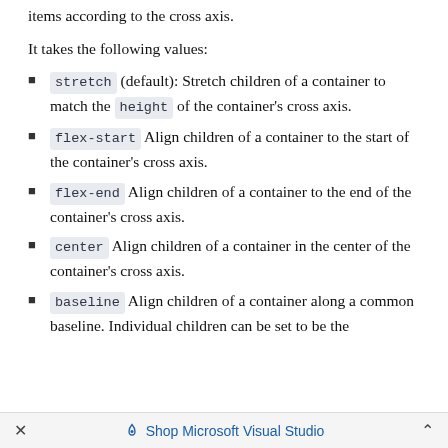items according to the cross axis.
It takes the following values:
stretch (default): Stretch children of a container to match the height of the container's cross axis.
flex-start  Align children of a container to the start of the container's cross axis.
flex-end  Align children of a container to the end of the container's cross axis.
center  Align children of a container in the center of the container's cross axis.
baseline  Align children of a container along a common baseline. Individual children can be set to be the
× ◇ Shop Microsoft Visual Studio ^